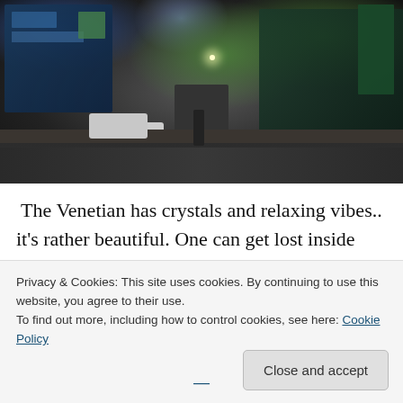[Figure (photo): Nighttime street scene, possibly Las Vegas strip area, showing buildings with colorful signs, trees, a white vehicle on the road, and a person walking on the sidewalk under artificial lighting.]
The Venetian has crystals and relaxing vibes.. it's rather beautiful. One can get lost inside with the being 'outside' illusion. With shop assistants in doorways trying to entice people in. Everything is nicely done to help you. But with the want of a tip. The free drinks while playing in the casino are provided with a tip for the waitress. With the
Privacy & Cookies: This site uses cookies. By continuing to use this website, you agree to their use.
To find out more, including how to control cookies, see here: Cookie Policy
Close and accept